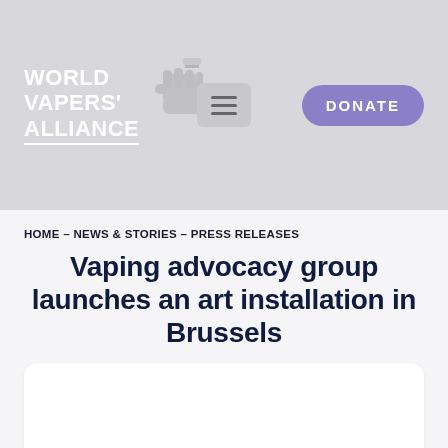[Figure (logo): World Vapers' Alliance logo with fist holding vape device, white text on grey background]
WORLD VAPERS' ALLIANCE — Navigation bar with hamburger menu and DONATE button
HOME – NEWS & STORIES – PRESS RELEASES
Vaping advocacy group launches an art installation in Brussels
[Figure (screenshot): White content card area placeholder]
EN